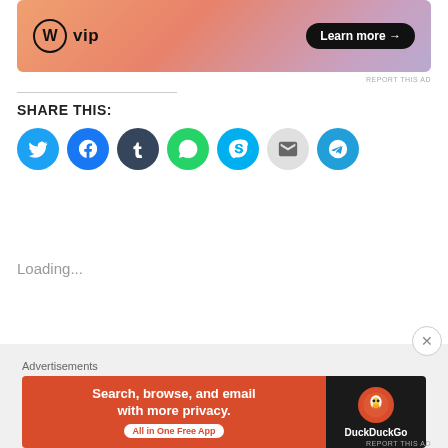[Figure (screenshot): WordPress VIP advertisement banner with 'Learn more →' button on gradient orange-pink background]
REPORT THIS AD
SHARE THIS:
[Figure (infographic): Share icons row: Twitter, Facebook, Tumblr, WhatsApp, Skype, Email, Telegram]
Loading...
Advertisements
[Figure (screenshot): DuckDuckGo advertisement: Search, browse, and email with more privacy. All in One Free App]
REPORT THIS AD